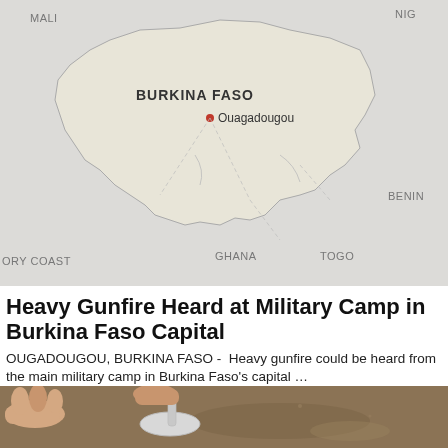[Figure (map): Map showing Burkina Faso in West Africa with capital Ouagadougou marked, surrounded by neighboring countries Mali, Niger, Benin, Togo, Ghana, Ivory Coast]
Heavy Gunfire Heard at Military Camp in Burkina Faso Capital
OUGADOUGOU, BURKINA FASO -  Heavy gunfire could be heard from the main military camp in Burkina Faso's capital …
Iraq News
[Figure (photo): Close-up photo of hands holding a spoon over a dark liquid or surface]